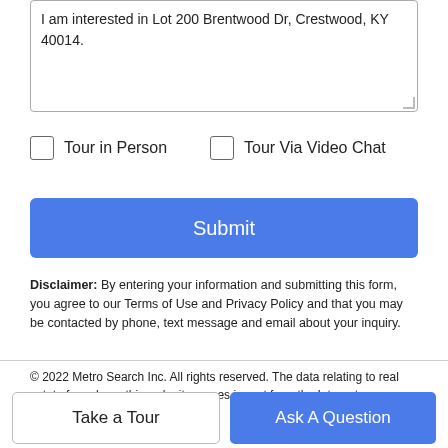I am interested in Lot 200 Brentwood Dr, Crestwood, KY 40014.
Tour in Person
Tour Via Video Chat
Submit
Disclaimer: By entering your information and submitting this form, you agree to our Terms of Use and Privacy Policy and that you may be contacted by phone, text message and email about your inquiry.
© 2022 Metro Search Inc. All rights reserved. The data relating to real estate for sale on this web site comes in part from the Internet
Take a Tour
Ask A Question